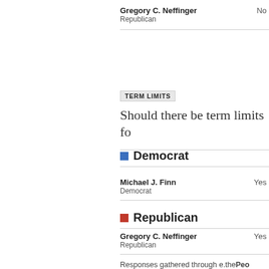Gregory C. Neffinger
Republican
No
TERM LIMITS
Should there be term limits fo
Democrat
Michael J. Finn
Democrat
Yes
Republican
Gregory C. Neffinger
Republican
Yes
Responses gathered through e.thePeo